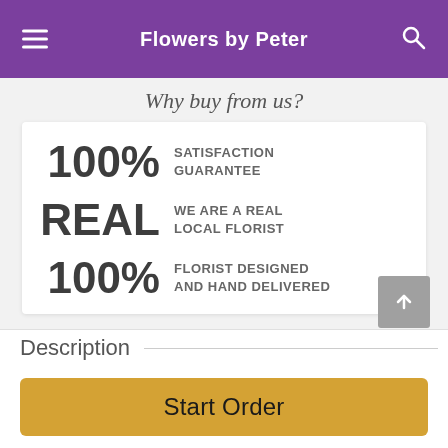Flowers by Peter
Why buy from us?
100% SATISFACTION GUARANTEE
REAL WE ARE A REAL LOCAL FLORIST
100% FLORIST DESIGNED AND HAND DELIVERED
Description
Start Order